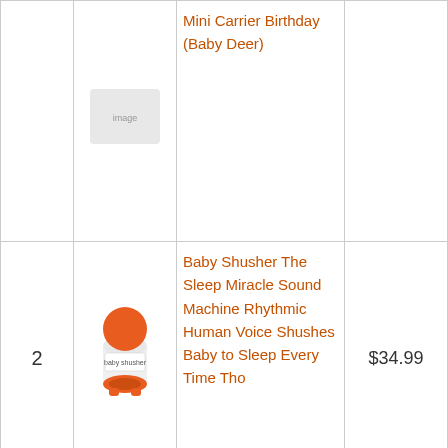| # | Image | Product Name | Price | Buy |
| --- | --- | --- | --- | --- |
|  |  | Mini Carrier Birthday (Baby Deer) |  | Buy on Amazon |
| 2 | [Baby Shusher image] | Baby Shusher The Sleep Miracle Sound Machine Rhythmic Human Voice Shushes Baby to Sleep Every Time Tho... | $34.99 | Buy on Amazon |